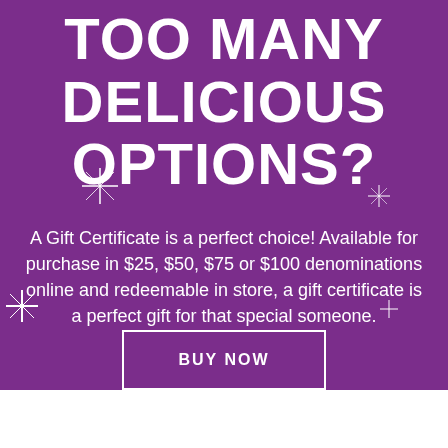TOO MANY DELICIOUS OPTIONS?
A Gift Certificate is a perfect choice! Available for purchase in $25, $50, $75 or $100 denominations online and redeemable in store, a gift certificate is a perfect gift for that special someone.
BUY NOW